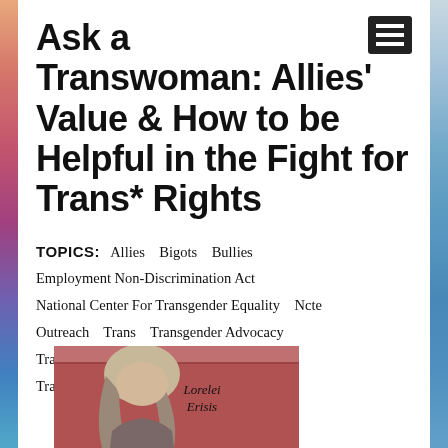Ask a Transwoman: Allies' Value & How to be Helpful in the Fight for Trans* Rights
TOPICS: Allies Bigots Bullies Employment Non-Discrimination Act National Center For Transgender Equality Ncte Outreach Trans Transgender Advocacy Transgender Issues Transgender News Transphobia
[Figure (photo): Photo of a person (Lorelei Erisis) against a reddish-brown background with the name written in cursive script]